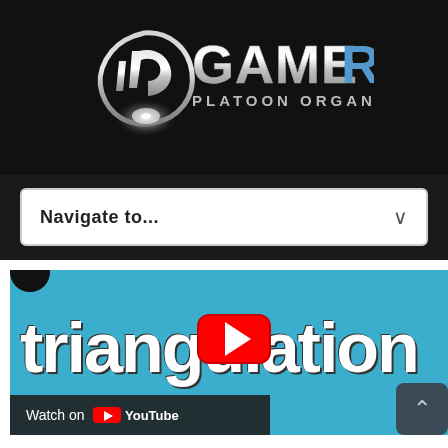[Figure (logo): Gamers Platoon Organization logo — stylized GP emblem with metallic sheen, text GAMERS in large bold letters and PLATOON ORGANIZATION below]
Navigate to...
[Figure (screenshot): YouTube video embed showing 'triangulation' text on blue background with YouTube play button overlay and 'Watch on YouTube' bar at bottom]